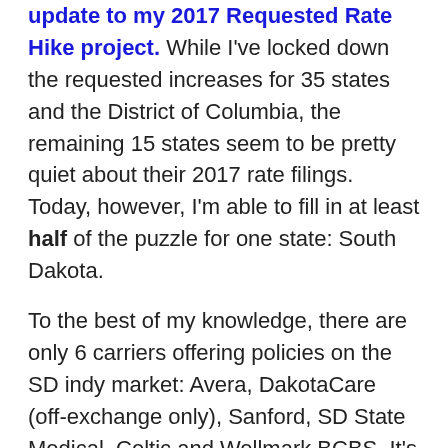update to my 2017 Requested Rate Hike project. While I've locked down the requested increases for 35 states and the District of Columbia, the remaining 15 states seem to be pretty quiet about their 2017 rate filings. Today, however, I'm able to fill in at least half of the puzzle for one state: South Dakota.
To the best of my knowledge, there are only 6 carriers offering policies on the SD indy market: Avera, DakotaCare (off-exchange only), Sanford, SD State Medical, Celtic and Wellmark BCBS. It's worth noting that DakotaCare is in the process of being bought out by Avera, but I'm not sure whether they'll be submitting separate filings